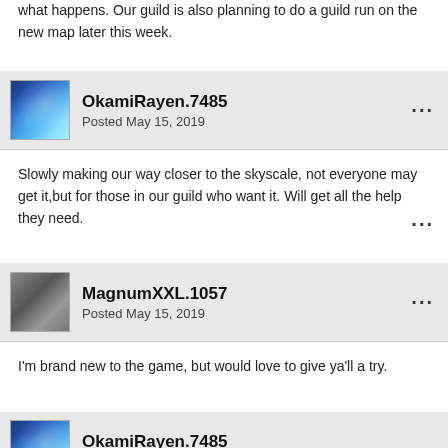what happens. Our guild is also planning to do a guild run on the new map later this week.
OkamiRayen.7485
Posted May 15, 2019
Slowly making our way closer to the skyscale, not everyone may get it,but for those in our guild who want it. Will get all the help they need.
MagnumXXL.1057
Posted May 15, 2019
I'm brand new to the game, but would love to give ya'll a try.
OkamiRayen.7485
Posted May 15, 2019